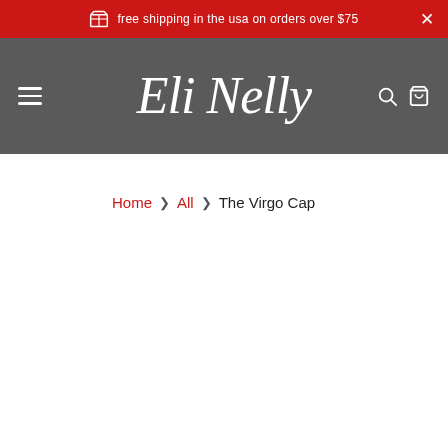free shipping in the usa on orders over $75
[Figure (logo): Eli Nelly brand logo in cursive white script on dark grey navigation bar]
Home > All > The Virgo Cap